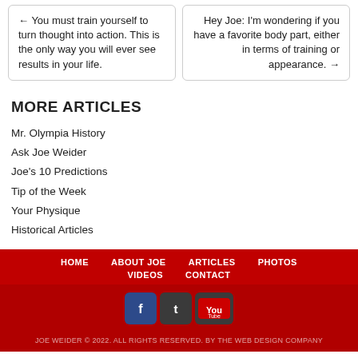← You must train yourself to turn thought into action. This is the only way you will ever see results in your life.
Hey Joe: I'm wondering if you have a favorite body part, either in terms of training or appearance. →
MORE ARTICLES
Mr. Olympia History
Ask Joe Weider
Joe's 10 Predictions
Tip of the Week
Your Physique
Historical Articles
HOME   ABOUT JOE   ARTICLES   PHOTOS   VIDEOS   CONTACT
JOE WEIDER © 2022. ALL RIGHTS RESERVED. BY THE WEB DESIGN COMPANY